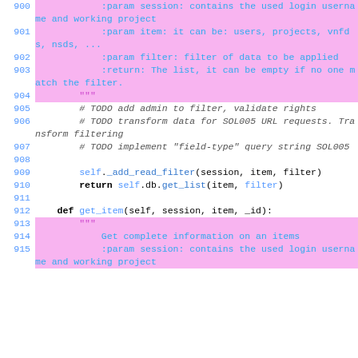900  :param session: contains the used login username and working project
901  :param item: it can be: users, projects, vnfds, nsds, ...
902  :param filter: filter of data to be applied
903  :return: The list, it can be empty if no one match the filter.
904  """
905  # TODO add admin to filter, validate rights
906  # TODO transform data for SOL005 URL requests. Transform filtering
907  # TODO implement "field-type" query string SOL005
908
909  self._add_read_filter(session, item, filter)
910  return self.db.get_list(item, filter)
911
912  def get_item(self, session, item, _id):
913  """
914  Get complete information on an items
915  :param session: contains the used login username and working project